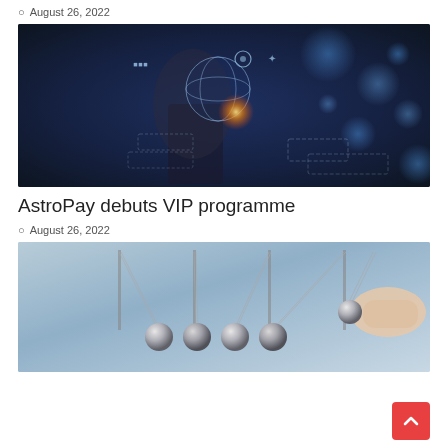August 26, 2022
[Figure (photo): Person holding smartphone with digital globe and business icons floating above it, technology concept image with blue bokeh background]
AstroPay debuts VIP programme
August 26, 2022
[Figure (photo): Newton's cradle with metallic balls, one ball being pulled back by a hand, physics momentum concept image]